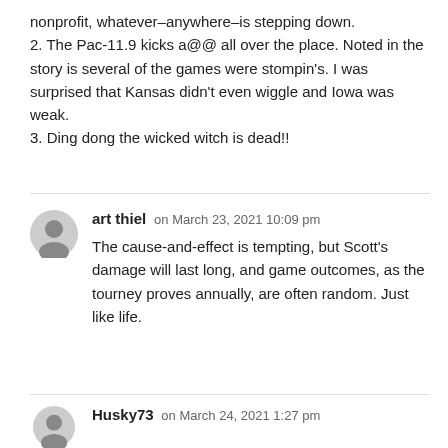nonprofit, whatever–anywhere–is stepping down.
2. The Pac-11.9 kicks a@@ all over the place. Noted in the story is several of the games were stompin's. I was surprised that Kansas didn't even wiggle and Iowa was weak.
3. Ding dong the wicked witch is dead!!
art thiel on March 23, 2021 10:09 pm
The cause-and-effect is tempting, but Scott's damage will last long, and game outcomes, as the tourney proves annually, are often random. Just like life.
Husky73 on March 24, 2021 1:27 pm